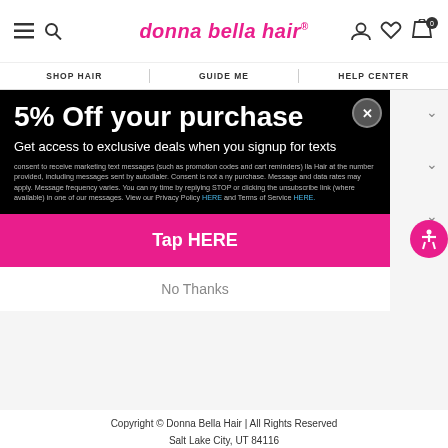donna bella hair
SHOP HAIR   GUIDE ME   HELP CENTER
5% Off your purchase
Get access to exclusive deals when you signup for texts
consent to receive marketing text messages (such as promotion codes and cart reminders) lla Hair at the number provided, including messages sent by autodialer. Consent is not a ny purchase. Message and data rates may apply. Message frequency varies. You can ny time by replying STOP or clicking the unsubscribe link (where available) in one of our messages. View our Privacy Policy HERE and Terms of Service HERE.
Tap HERE
No Thanks
Copyright © Donna Bella Hair | All Rights Reserved
Salt Lake City, UT 84116